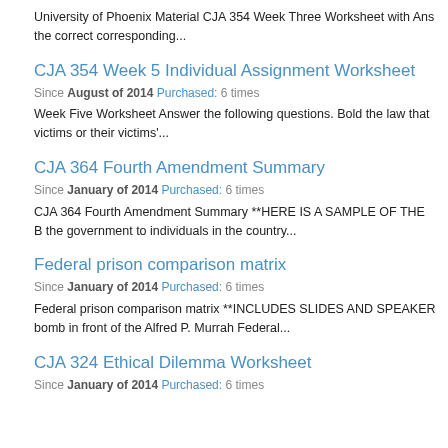University of Phoenix Material CJA 354 Week Three Worksheet with Ans the correct corresponding...
CJA 354 Week 5 Individual Assignment Worksheet
Since August of 2014 Purchased: 6 times
Week Five Worksheet Answer the following questions. Bold the law that victims or their victims'...
CJA 364 Fourth Amendment Summary
Since January of 2014 Purchased: 6 times
CJA 364 Fourth Amendment Summary **HERE IS A SAMPLE OF THE B the government to individuals in the country...
Federal prison comparison matrix
Since January of 2014 Purchased: 6 times
Federal prison comparison matrix **INCLUDES SLIDES AND SPEAKER bomb in front of the Alfred P. Murrah Federal...
CJA 324 Ethical Dilemma Worksheet
Since January of 2014 Purchased: 6 times